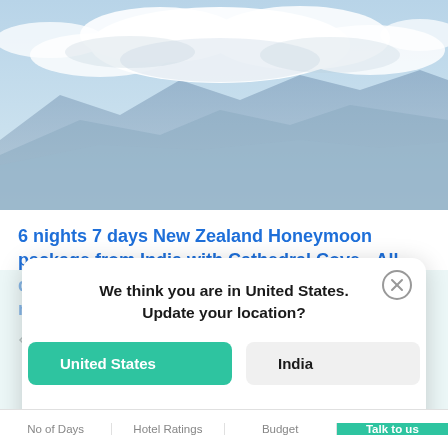[Figure (photo): Mountain landscape with blue sky and white clouds, showing misty blue-purple mountain ridges below clouds.]
6 nights 7 days New Zealand Honeymoon package from India with Cathedral Cove - All day long venturing into the unique thermal mineral pools at the famous Hot water beach
6 nights: Auckland, Wanaka +1 city
We think you are in United States.
Update your location?
United States
India
No of Days | Hotel Ratings | Budget | Talk to us